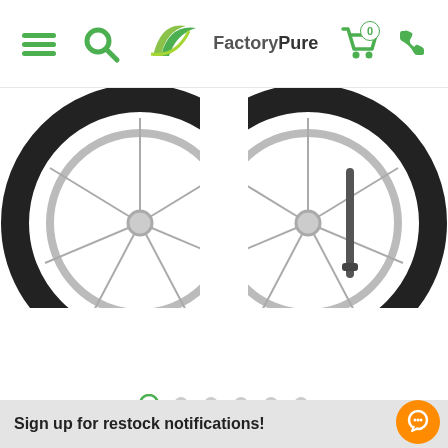[Figure (screenshot): FactoryPure website header with hamburger menu, search, logo, cart (0), and phone icons]
[Figure (photo): Two bicycle wheels/tires partially visible against white background, product photo carousel]
[Figure (infographic): Image carousel dot indicators: first dot filled green, remaining 5 dots gray/hollow]
[Figure (screenshot): QTY quantity selector box with minus and plus buttons, and green SOLD OUT button with cart icon]
Sign up for restock notifications!